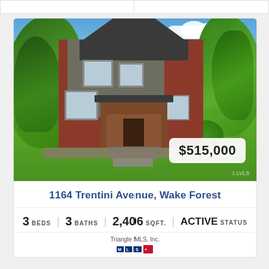[Figure (photo): Exterior photo of a two-story craftsman-style house with gray and brick siding, large front porch with steps, surrounded by lush green trees and lawn. Price overlay showing $515,000 in bottom right corner.]
1164 Trentini Avenue, Wake Forest
3 BEDS   3 BATHS   2,406 SQFT.   ACTIVE STATUS
Triangle MLS, Inc.